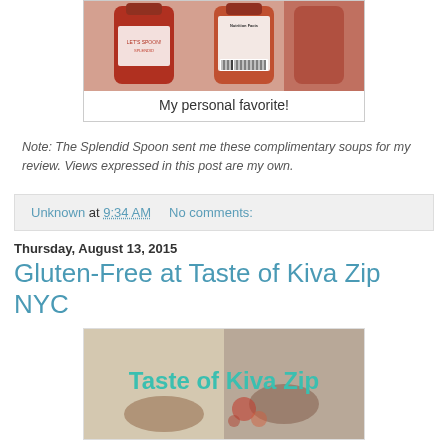[Figure (photo): Photo of soup bottles/products from The Splendid Spoon, showing front and back labels]
My personal favorite!
Note: The Splendid Spoon sent me these complimentary soups for my review. Views expressed in this post are my own.
Unknown at 9:34 AM    No comments:
Thursday, August 13, 2015
Gluten-Free at Taste of Kiva Zip NYC
[Figure (photo): Photo with text overlay reading 'Taste of Kiva Zip' over food/event imagery]